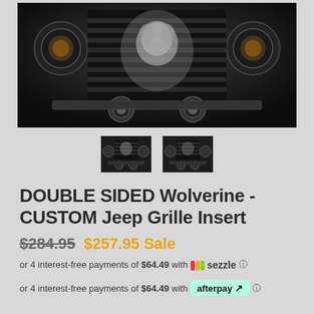[Figure (photo): Close-up front view of a Jeep grille with a Wolverine graphic insert, black and white image showing headlights and fog lights]
[Figure (photo): Two small thumbnail images of the Jeep grille insert product]
DOUBLE SIDED Wolverine - CUSTOM Jeep Grille Insert
$284.95  $257.95 Sale
or 4 interest-free payments of $64.49 with Sezzle
or 4 interest-free payments of $64.49 with afterpay